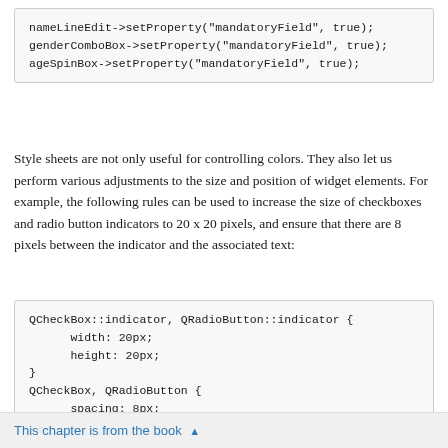nameLineEdit->setProperty("mandatoryField", true);
genderComboBox->setProperty("mandatoryField", true);
ageSpinBox->setProperty("mandatoryField", true);
Style sheets are not only useful for controlling colors. They also let us perform various adjustments to the size and position of widget elements. For example, the following rules can be used to increase the size of checkboxes and radio button indicators to 20 x 20 pixels, and ensure that there are 8 pixels between the indicator and the associated text:
QCheckBox::indicator, QRadioButton::indicator {
      width: 20px;
      height: 20px;
}
QCheckBox, QRadioButton {
      spacing: 8px;
}
Notice the selector syntax for the first rule. Had we written only
This chapter is from the book ▲